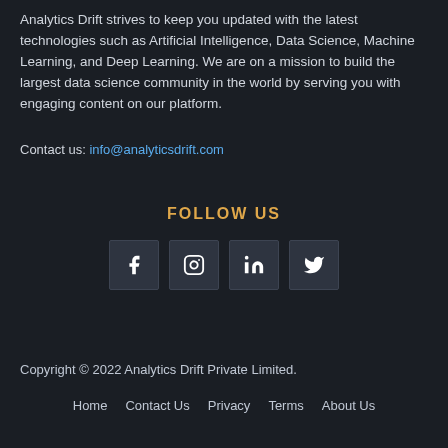Analytics Drift strives to keep you updated with the latest technologies such as Artificial Intelligence, Data Science, Machine Learning, and Deep Learning. We are on a mission to build the largest data science community in the world by serving you with engaging content on our platform.
Contact us: info@analyticsdrift.com
FOLLOW US
[Figure (infographic): Four social media icon buttons: Facebook, Instagram, LinkedIn, Twitter]
Copyright © 2022 Analytics Drift Private Limited.
Home   Contact Us   Privacy   Terms   About Us